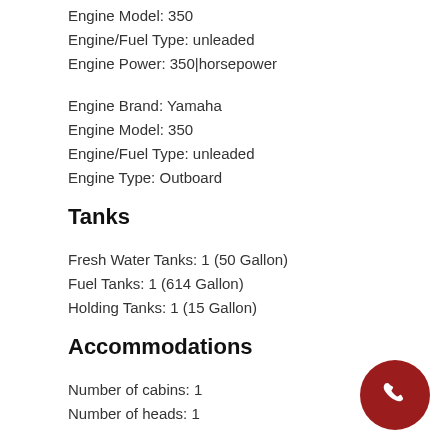Engine Model: 350
Engine/Fuel Type: unleaded
Engine Power: 350|horsepower
Engine Brand: Yamaha
Engine Model: 350
Engine/Fuel Type: unleaded
Engine Type: Outboard
Tanks
Fresh Water Tanks: 1 (50 Gallon)
Fuel Tanks: 1 (614 Gallon)
Holding Tanks: 1 (15 Gallon)
Accommodations
Number of cabins: 1
Number of heads: 1